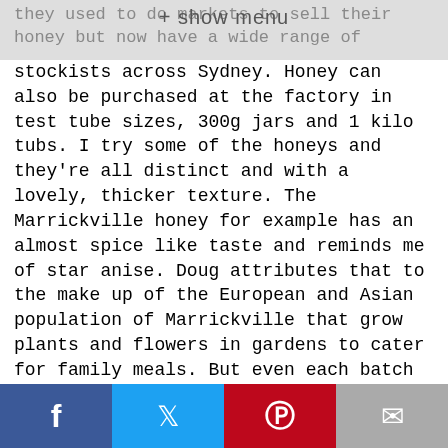+ show menu
they used to do markets to sell their honey but now have a wide range of
stockists across Sydney. Honey can also be purchased at the factory in test tube sizes, 300g jars and 1 kilo tubs. I try some of the honeys and they're all distinct and with a lovely, thicker texture. The Marrickville honey for example has an almost spice like taste and reminds me of star anise. Doug attributes that to the make up of the European and Asian population of Marrickville that grow plants and flowers in gardens to cater for family meals. But even each batch of honey can differ. Their honey is used in restaurants across Sydney - Flying Fish in Pyrmont is one that Doug mentions uses their honey in their desserts.
Social share bar: Facebook, Twitter, Pinterest, Email